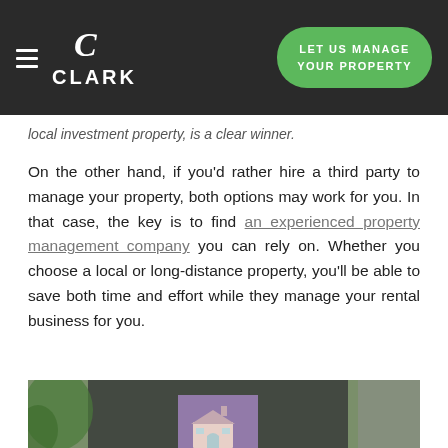CLARK — LET US MANAGE YOUR PROPERTY
local investment property, is a clear winner.
On the other hand, if you'd rather hire a third party to manage your property, both options may work for you. In that case, the key is to find an experienced property management company you can rely on. Whether you choose a local or long-distance property, you'll be able to save both time and effort while they manage your rental business for you.
[Figure (photo): A man in a dark suit holding a small model house, with a plant in the background]